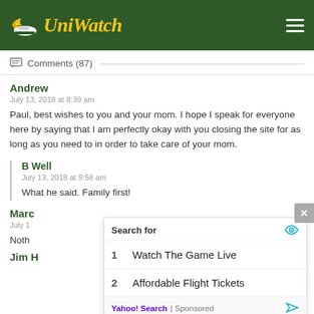Uni Watch
Comments (87)
Andrew
July 13, 2018 at 8:39 am
Paul, best wishes to you and your mom. I hope I speak for everyone here by saying that I am perfectly okay with you closing the site for as long as you need to in order to take care of your mom.
B Well
July 13, 2018 at 9:58 am
What he said. Family first!
Marc
July 1...
Noth...
Jim H...
[Figure (screenshot): Ad overlay showing Yahoo Search sponsored results: 1. Watch The Game Live, 2. Affordable Flight Tickets]